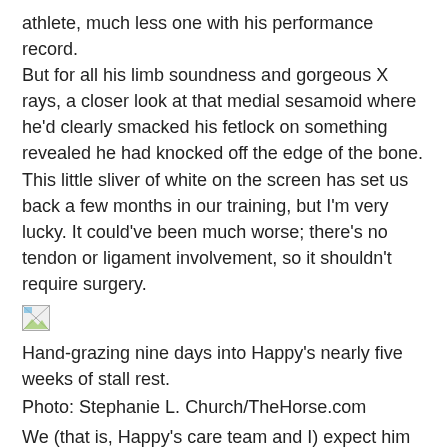athlete, much less one with his performance record. But for all his limb soundness and gorgeous X rays, a closer look at that medial sesamoid where he'd clearly smacked his fetlock on something revealed he had knocked off the edge of the bone. This little sliver of white on the screen has set us back a few months in our training, but I'm very lucky. It could've been much worse; there's no tendon or ligament involvement, so it shouldn't require surgery.
[Figure (photo): Broken/missing image icon placeholder]
Hand-grazing nine days into Happy's nearly five weeks of stall rest.
Photo: Stephanie L. Church/TheHorse.com
We (that is, Happy's care team and I) expect him to make a full recovery and return to athleticism, barring any unforeseen setbacks. After the initial (and sometimes acrobatic) five weeks of hand-grazing, he was in a wonderful rehab program at a friend's farm for three weeks, spending time on the automatic walker and then in controlled turnout each day. He looks sound and strong, and the vet rechecked him about two weeks ago. He looks good. He may have returned to riding at this